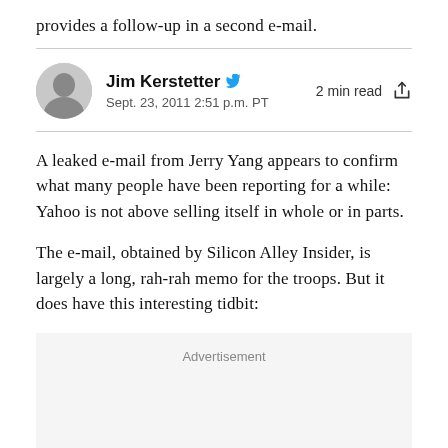provides a follow-up in a second e-mail.
Jim Kerstetter
Sept. 23, 2011 2:51 p.m. PT
2 min read
A leaked e-mail from Jerry Yang appears to confirm what many people have been reporting for a while: Yahoo is not above selling itself in whole or in parts.
The e-mail, obtained by Silicon Alley Insider, is largely a long, rah-rah memo for the troops. But it does have this interesting tidbit:
[Figure (other): Advertisement placeholder box]